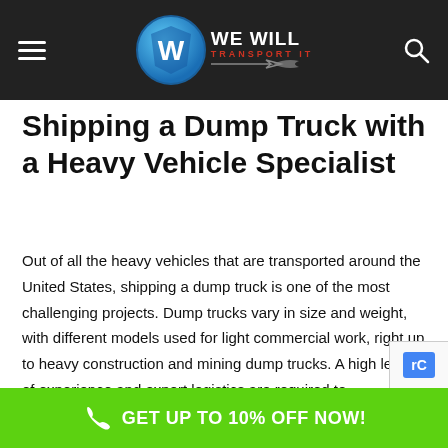We Will Transport It — navigation header with hamburger menu, logo, and search icon
Shipping a Dump Truck with a Heavy Vehicle Specialist
Out of all the heavy vehicles that are transported around the United States, shipping a dump truck is one of the most challenging projects. Dump trucks vary in size and weight, with different models used for light commercial work, right up to heavy construction and mining dump trucks. A high level of experience and expert logistics are required to successfully perform dump truck shipping from State to State.
GET UP TO 10% OFF NOW!